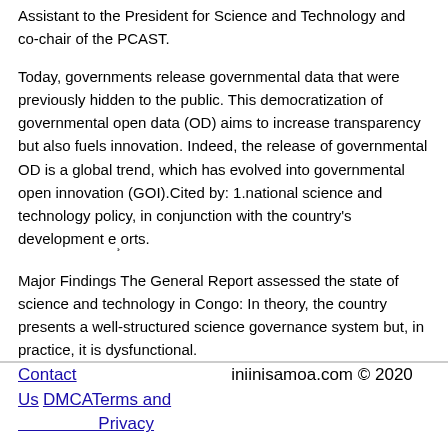Assistant to the President for Science and Technology and co-chair of the PCAST.
Today, governments release governmental data that were previously hidden to the public. This democratization of governmental open data (OD) aims to increase transparency but also fuels innovation. Indeed, the release of governmental OD is a global trend, which has evolved into governmental open innovation (GOI).Cited by: 1.national science and technology policy, in conjunction with the country’s development e¸orts.
Major Findings The General Report assessed the state of science and technology in Congo: In theory, the country presents a well-structured science governance system but, in practice, it is dysfunctional.
Contact Us   DMCA   Terms and Privacy   iniinisamoa.com © 2020